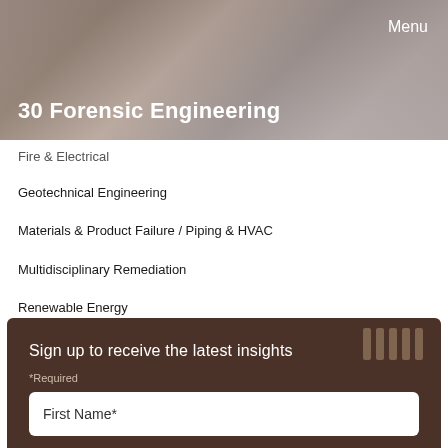[Figure (photo): Header background photo showing a close-up of hands or surface with warm brownish-gray tones]
30 Forensic Engineering
Menu
Fire & Electrical
Geotechnical Engineering
Materials & Product Failure / Piping & HVAC
Multidisciplinary Remediation
Renewable Energy
Transportation Safety
Trucking
Sign up to receive the latest insights
*Required
First Name*